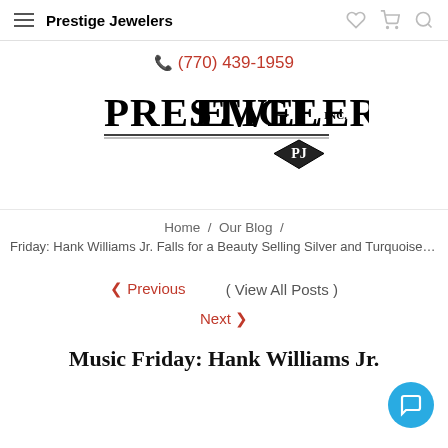Prestige Jewelers
(770) 439-1959
[Figure (logo): Prestige Jewelers Inc. logo with diamond PJ emblem]
Home / Our Blog /
Friday: Hank Williams Jr. Falls for a Beauty Selling Silver and Turquoise Je
< Previous   ( View All Posts )
Next >
Music Friday: Hank Williams Jr.